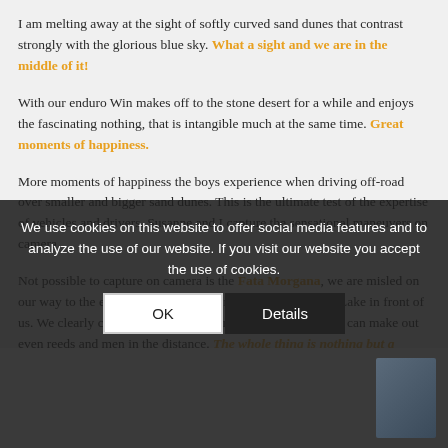I am melting away at the sight of softly curved sand dunes that contrast strongly with the glorious blue sky. What a sight and we are in the middle of it!
With our enduro Win makes off to the stone desert for a while and enjoys the fascinating nothing, that is intangible much at the same time. Great moments of happiness.
More moments of happiness the boys experience when driving off-road over smaller and bigger sand dunes. This is the ultimate test of the expertise of vehicles and drivers. Susanne and I capture the sensational maneuvers on camera.
Not possible to capture on camera is the Fata Morgana, we are misled on our way to the erg (= sand). We are sure to see the big Iriki Lake in front of us. We clearly can see the sparkling surface of the water and can make out even reeds and men in the distance. The whole thing is nothing but a mirage...
We use cookies on this website to offer social media features and to analyze the use of our website. If you visit our website you accept the use of cookies.
[Figure (photo): Dark photo strip at the bottom of the page showing a partial outdoor scene, partially obscured by the cookie consent overlay.]